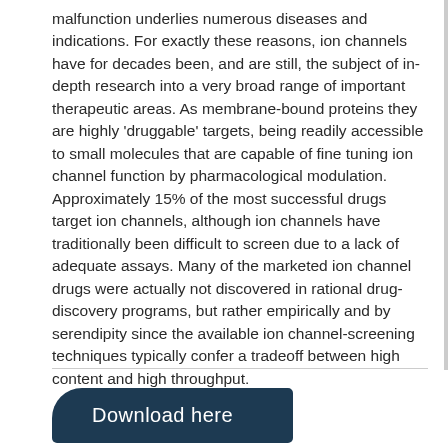malfunction underlies numerous diseases and indications. For exactly these reasons, ion channels have for decades been, and are still, the subject of in-depth research into a very broad range of important therapeutic areas. As membrane-bound proteins they are highly 'druggable' targets, being readily accessible to small molecules that are capable of fine tuning ion channel function by pharmacological modulation. Approximately 15% of the most successful drugs target ion channels, although ion channels have traditionally been difficult to screen due to a lack of adequate assays. Many of the marketed ion channel drugs were actually not discovered in rational drug-discovery programs, but rather empirically and by serendipity since the available ion channel-screening techniques typically confer a tradeoff between high content and high throughput.
Download here